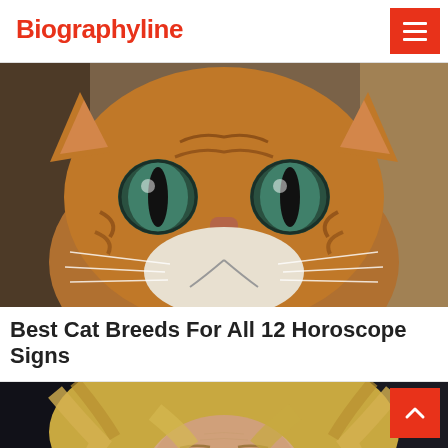Biographyline
[Figure (photo): Close-up photo of a tabby cat with striking green eyes looking directly at the camera]
Best Cat Breeds For All 12 Horoscope Signs
[Figure (photo): Close-up photo of a middle-aged blonde woman with blue eyes looking at the camera]